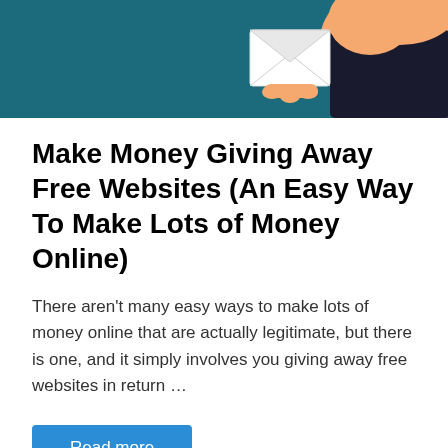[Figure (illustration): Illustration of a person holding an envelope, on a teal/dark blue background. Partial view showing a hand and shoulder area.]
Make Money Giving Away Free Websites (An Easy Way To Make Lots of Money Online)
There aren't many easy ways to make lots of money online that are actually legitimate, but there is one, and it simply involves you giving away free websites in return …
Read more